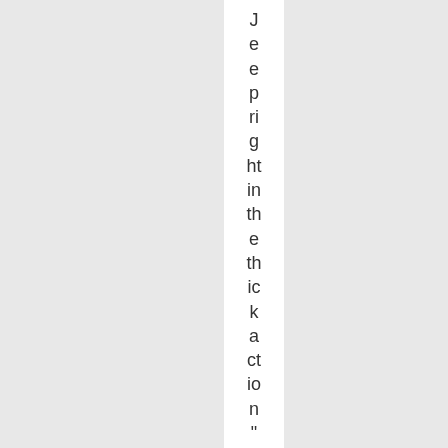Jeeprightinthethickaction" Henry, remember
Henry, remember